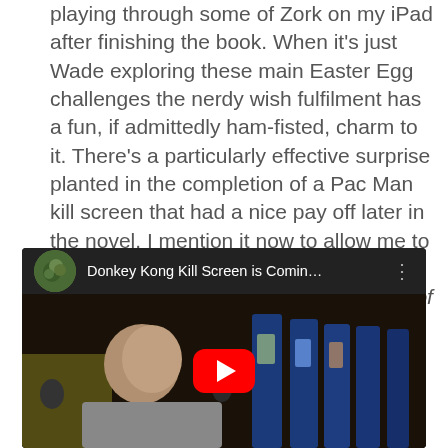playing through some of Zork on my iPad after finishing the book. When it's just Wade exploring these main Easter Egg challenges the nerdy wish fulfilment has a fun, if admittedly ham-fisted, charm to it. There's a particularly effective surprise planted in the completion of a Pac Man kill screen that had a nice pay off later in the novel. I mention it now to allow me to share the greatest scene from the greatest videogame documentary King of Kong.
[Figure (screenshot): Embedded YouTube video thumbnail showing 'Donkey Kong Kill Screen is Comin...' with a circular avatar of a person in a forested setting, three-dot menu, and a red YouTube play button overlaid on a dark video frame showing a man in profile with arcade machines in the background.]